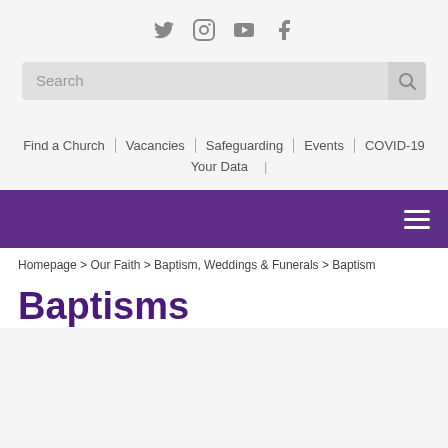Social media icons: Twitter, Instagram, YouTube, Facebook
Search
Find a Church | Vacancies | Safeguarding | Events | COVID-19 | Your Data
[Figure (other): Purple navigation bar with hamburger menu icon]
Homepage > Our Faith > Baptism, Weddings & Funerals > Baptism
Baptisms